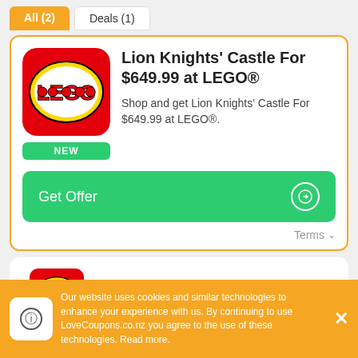All (2)
Deals (1)
Lion Knights' Castle For $649.99 at LEGO®
Shop and get Lion Knights' Castle For $649.99 at LEGO®.
NEW
Get Offer
Terms
Sign Up The Newsletter
Our website uses cookies and similar technologies to enhance your experience with us. By continuing to use LoveCoupons.co.nz you agree to the use of these technologies. Read more.